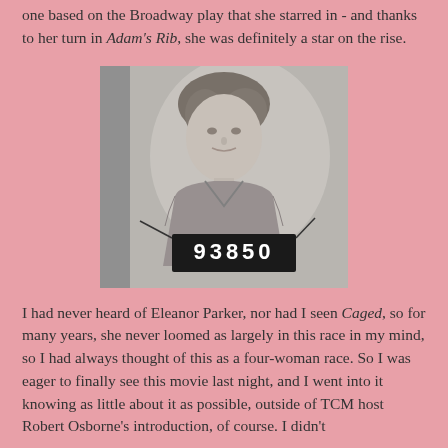one based on the Broadway play that she starred in - and thanks to her turn in Adam's Rib, she was definitely a star on the rise.
[Figure (photo): Black and white still from the film 'Caged' showing a young woman (Eleanor Parker) wearing a prison uniform with a mugshot number placard reading '93850' hanging around her neck. She has curled blonde hair and is looking slightly off-camera with a neutral/apprehensive expression.]
I had never heard of Eleanor Parker, nor had I seen Caged, so for many years, she never loomed as largely in this race in my mind, so I had always thought of this as a four-woman race. So I was eager to finally see this movie last night, and I went into it knowing as little about it as possible, outside of TCM host Robert Osborne's introduction, of course. I didn't